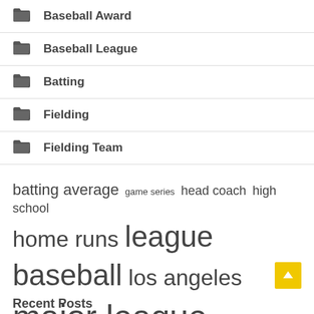Baseball Award
Baseball League
Batting
Fielding
Fielding Team
batting average  game series  head coach  high school  home runs  league baseball  los angeles  major league  minor league  red sox  regular season  south africa  united states  world cup  world series
Recent Posts